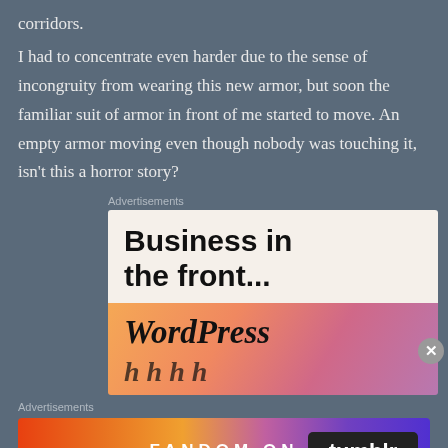corridors.
I had to concentrate even harder due to the sense of incongruity from wearing this new armor, but soon the familiar suit of armor in front of me started to move. An empty armor moving even though nobody was touching it, isn't this a horror story?
Advertisements
[Figure (other): Advertisement banner: 'Business in the front...' followed by WordPress branding on a gradient orange-pink background]
Advertisements
[Figure (other): Fandom on Tumblr advertisement banner with colorful gradient background]